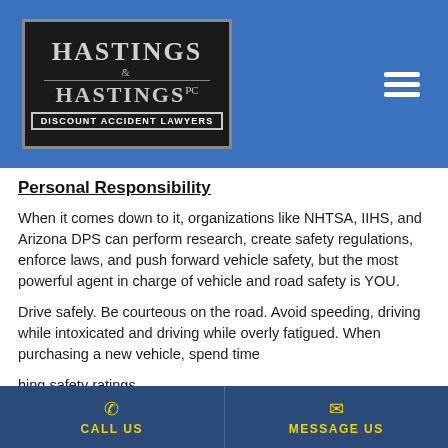[Figure (logo): Hastings & Hastings PC — Discount Accident Lawyers logo, white/gray text on dark background with border, displayed in blue header bar]
Personal Responsibility
When it comes down to it, organizations like NHTSA, IIHS, and Arizona DPS can perform research, create safety regulations, enforce laws, and push forward vehicle safety, but the most powerful agent in charge of vehicle and road safety is YOU.
Drive safely. Be courteous on the road. Avoid speeding, driving while intoxicated and driving while overly fatigued. When purchasing a new vehicle, spend time hing safety ratings.
CALL US | MESSAGE US